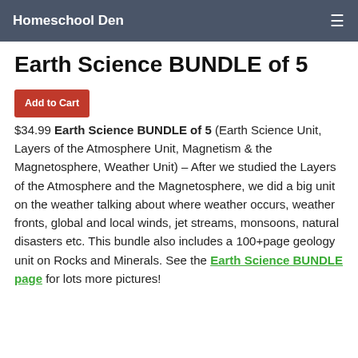Homeschool Den
Earth Science BUNDLE of 5
$34.99 Earth Science BUNDLE of 5 (Earth Science Unit, Layers of the Atmosphere Unit, Magnetism & the Magnetosphere, Weather Unit) – After we studied the Layers of the Atmosphere and the Magnetosphere, we did a big unit on the weather talking about where weather occurs, weather fronts, global and local winds, jet streams, monsoons, natural disasters etc. This bundle also includes a 100+page geology unit on Rocks and Minerals. See the Earth Science BUNDLE page for lots more pictures!